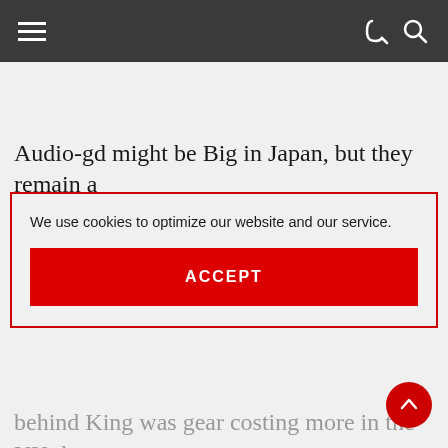Navigation bar with hamburger menu, dark/light mode toggle, and search icon
Audio-gd might be Big in Japan, but they remain a
We use cookies to optimize our website and our service.
ACCEPT
behind King was gear costing more in the UK than it does to buy direct from his Chinese HQ. Having earned its reputation as the go to fellas for budget DACs – check the forum chit-chat for confirmation on that score – I was curious to learn if Audio- amplifiers provided similar value for money. That